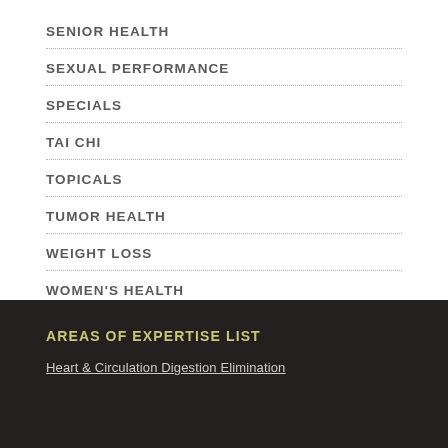SENIOR HEALTH
SEXUAL PERFORMANCE
SPECIALS
TAI CHI
TOPICALS
TUMOR HEALTH
WEIGHT LOSS
WOMEN'S HEALTH
AREAS OF EXPERTISE LIST
Heart & Circulation Digestion Elimination